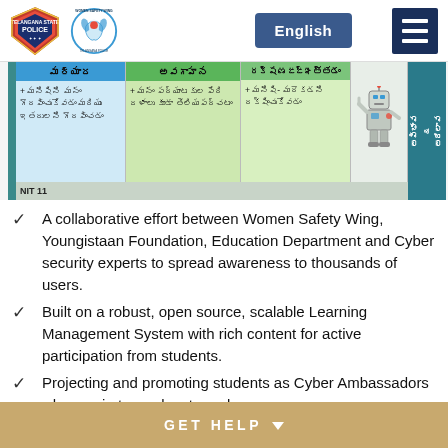[Figure (screenshot): Header with Telangana State Police badge logo, Women Safety Wing Telangana Police circular logo, English language button in dark blue, and hamburger menu icon in dark navy blue]
[Figure (screenshot): Educational slide in Telugu language with three columns labeled with Telugu text headers (in blue, green, and light green), a robot cartoon figure, and a teal right panel with Telugu text. Bottom bar shows 'NIT 11'.]
A collaborative effort between Women Safety Wing, Youngistaan Foundation, Education Department and Cyber security experts to spread awareness to thousands of users.
Built on a robust, open source, scalable Learning Management System with rich content for active participation from students.
Projecting and promoting students as Cyber Ambassadors who can in turn educate and empower
GET HELP